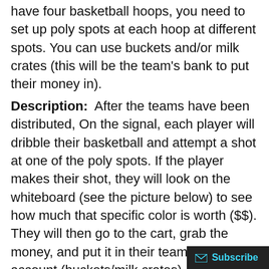have four basketball hoops, you need to set up poly spots at each hoop at different spots. You can use buckets and/or milk crates (this will be the team's bank to put their money in).
Description:  After the teams have been distributed, On the signal, each player will dribble their basketball and attempt a shot at one of the poly spots. If the player makes their shot, they will look on the whiteboard (see the picture below) to see how much that specific color is worth ($$). They will then go to the cart, grab the money, and put it in their team's bank account (buckets/milk crates). Then they will attempt another shot, trying to keep gaining more money for their team. The activity continues until all the money is gone or time is up. After the activity has ended, each team will put their basketballs away and go and add up the a… of money they earned. The team with the mos…